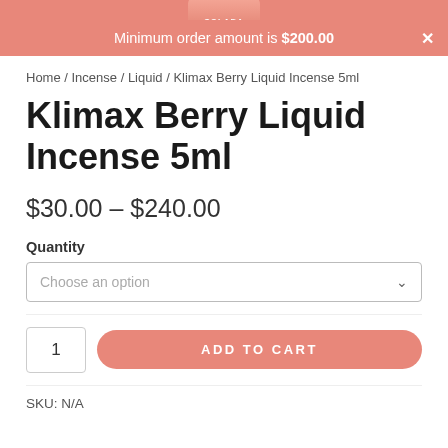Minimum order amount is $200.00
Home / Incense / Liquid / Klimax Berry Liquid Incense 5ml
Klimax Berry Liquid Incense 5ml
$30.00 – $240.00
Quantity
Choose an option
1
ADD TO CART
SKU: N/A